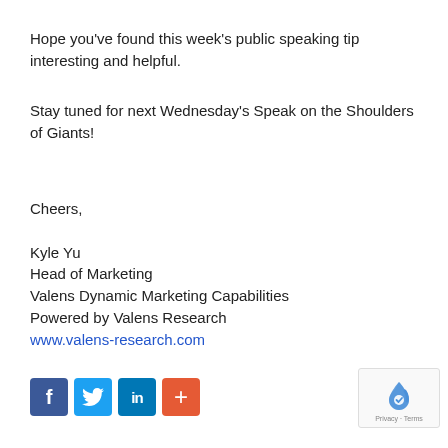Hope you've found this week's public speaking tip interesting and helpful.
Stay tuned for next Wednesday's Speak on the Shoulders of Giants!
Cheers,

Kyle Yu
Head of Marketing
Valens Dynamic Marketing Capabilities
Powered by Valens Research
www.valens-research.com
[Figure (infographic): Social media sharing buttons: Facebook (blue), Twitter (light blue), LinkedIn (dark blue), plus/share (orange-red). reCAPTCHA logo with Privacy and Terms text at bottom right.]